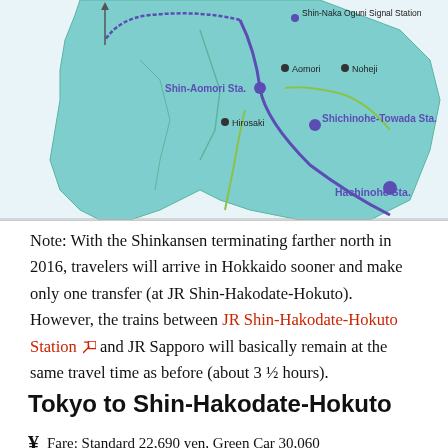[Figure (map): Map of northern Honshu (Aomori prefecture area) showing Shinkansen and rail lines with labeled stations: Shin-Naka Oguni Signal Station, Aomori, Noheji, Shin-Aomori Sta., Hirosaki, Shichinohe-Towada Sta., Hachinohe Sta.]
Note: With the Shinkansen terminating farther north in 2016, travelers will arrive in Hokkaido sooner and make only one transfer (at JR Shin-Hakodate-Hokuto). However, the trains between JR Shin-Hakodate-Hokuto Station and JR Sapporo will basically remain at the same travel time as before (about 3 ½ hours).
Tokyo to Shin-Hakodate-Hokuto
Fare: Standard 22,690 yen, Green Car 30,060